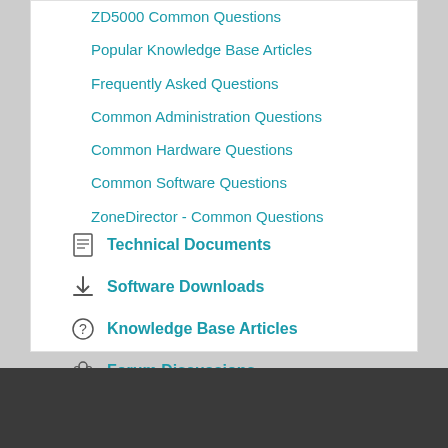ZD5000 Common Questions
Popular Knowledge Base Articles
Frequently Asked Questions
Common Administration Questions
Common Hardware Questions
Common Software Questions
ZoneDirector - Common Questions
Technical Documents
Software Downloads
Knowledge Base Articles
Forum Discussions
[Figure (logo): Ruckus Networks logo - white moose silhouette with 'Ruckus Simply Better Wireless' text on dark background]